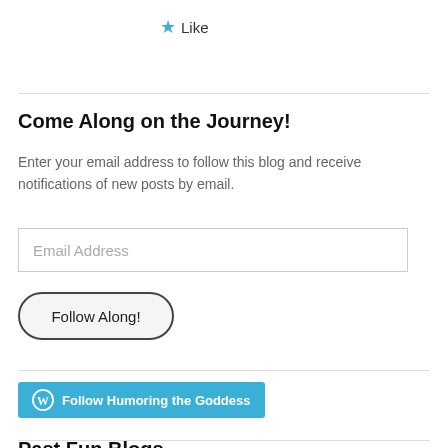[Figure (other): Blue star icon with 'Like' label]
Come Along on the Journey!
Enter your email address to follow this blog and receive notifications of new posts by email.
[Figure (other): Email Address input field]
[Figure (other): Follow Along! button with rounded border]
[Figure (logo): WordPress Follow Humoring the Goddess button in teal]
Past Fun Blogs